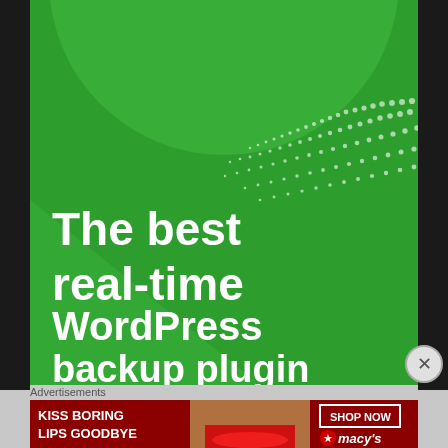[Figure (illustration): Green advertisement banner for WordPress backup plugin featuring large white bold text 'The best real-time WordPress backup plugin' on a green background with decorative circle shapes and dot pattern in upper right area.]
Advertisements
[Figure (illustration): Macy's advertisement banner with dark red background showing 'KISS BORING LIPS GOODBYE' in white bold text on the left, a woman's face with red lipstick in the center, and 'SHOP NOW' button with Macy's star logo on the right.]